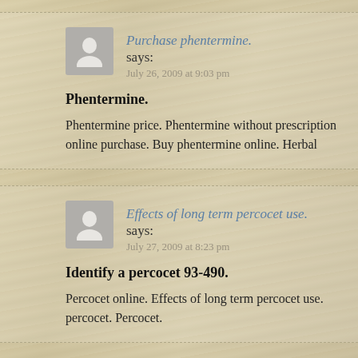Purchase phentermine. says: July 26, 2009 at 9:03 pm
Phentermine.
Phentermine price. Phentermine without prescription online purchase. Buy phentermine online. Herbal
Effects of long term percocet use. says: July 27, 2009 at 8:23 pm
Identify a percocet 93-490.
Percocet online. Effects of long term percocet use. percocet. Percocet.